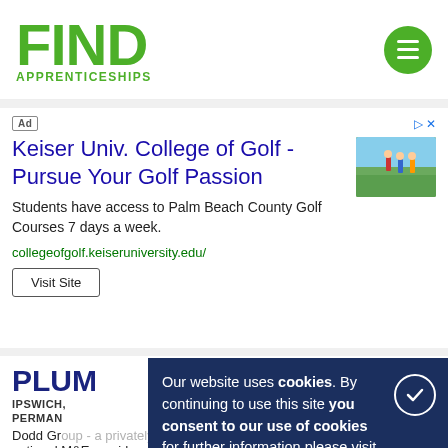FIND APPRENTICESHIPS
[Figure (other): Green hamburger menu button circle top right]
[Figure (photo): Small ad image showing people playing golf on a green course]
Ad
Keiser Univ. College of Golf - Pursue Your Golf Passion
Students have access to Palm Beach County Golf Courses 7 days a week.
collegeofgolf.keiseruniversity.edu/
Visit Site
PLUMBER
IPSWICH,
PERMAN
Dodd Group - a privately owned family business formed in 1947; a national M&E provider with an outstanding reputation for delivering
Our website uses cookies. By continuing to use this site you consent to our use of cookies for further information please visit our privacy policy for more information.